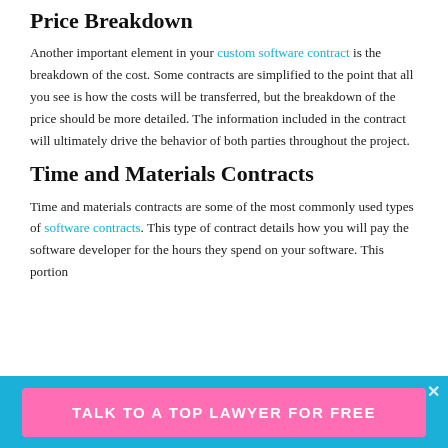Price Breakdown
Another important element in your custom software contract is the breakdown of the cost. Some contracts are simplified to the point that all you see is how the costs will be transferred, but the breakdown of the price should be more detailed. The information included in the contract will ultimately drive the behavior of both parties throughout the project.
Time and Materials Contracts
Time and materials contracts are some of the most commonly used types of software contracts. This type of contract details how you will pay the software developer for the hours they spend on your software. This portion
TALK TO A TOP LAWYER FOR FREE